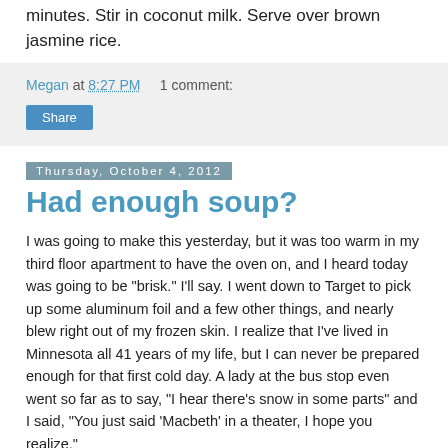minutes. Stir in coconut milk. Serve over brown jasmine rice.
Megan at 8:27 PM    1 comment:
Share
Thursday, October 4, 2012
Had enough soup?
I was going to make this yesterday, but it was too warm in my third floor apartment to have the oven on, and I heard today was going to be "brisk." I'll say. I went down to Target to pick up some aluminum foil and a few other things, and nearly blew right out of my frozen skin. I realize that I've lived in Minnesota all 41 years of my life, but I can never be prepared enough for that first cold day. A lady at the bus stop even went so far as to say, "I hear there's snow in some parts" and I said, "You just said 'Macbeth' in a theater, I hope you realize." Anyway, a comforting, spicy soup was in order. Most African squash-peanut soups are made with butternut, but I am kabocha's biggest fan. It's kind of like pumpkin, only a little ...I don't know. Zestier? Anyhow, this turned out beautifully.